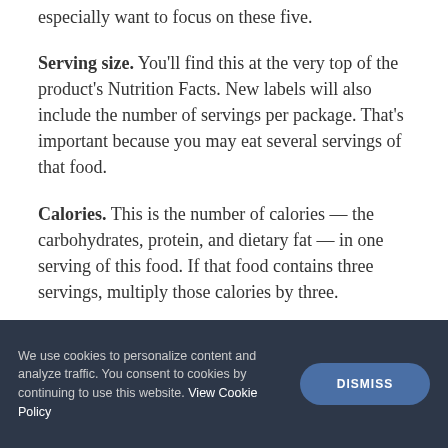especially want to focus on these five.
Serving size. You'll find this at the very top of the product's Nutrition Facts. New labels will also include the number of servings per package. That's important because you may eat several servings of that food.
Calories. This is the number of calories — the carbohydrates, protein, and dietary fat — in one serving of this food. If that food contains three servings, multiply those calories by three.
Beneath calories, you will find specific nutrients along with daily value for each serving. All of these percentages such as daily value are based on a 2,000-calorie-a-day.⁷
We use cookies to personalize content and analyze traffic. You consent to cookies by continuing to use this website. View Cookie Policy